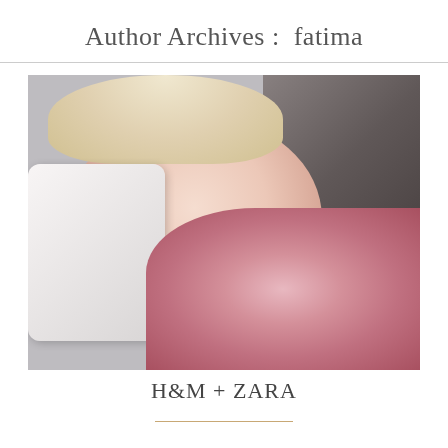Author Archives :  fatima
[Figure (photo): Portrait photograph of a young blonde woman with light blue eyes, wearing a pink fluffy fur coat, leaning against a white object, shot against a light gray background.]
H&M + ZARA